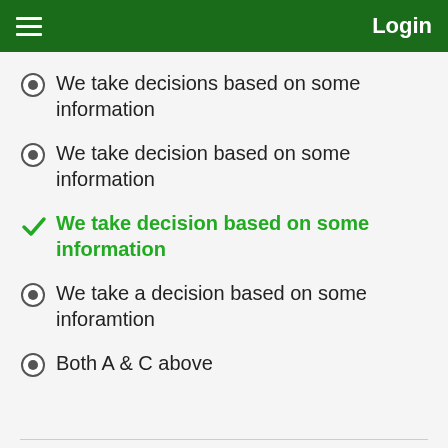Login
We take decisions based on some information
We take decision based on some information
We take decision based on some information
We take a decision based on some inforamtion
Both A & C above